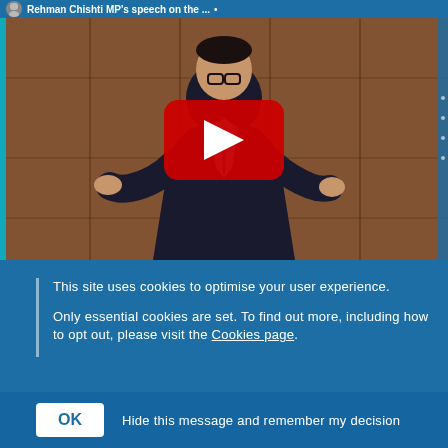[Figure (screenshot): YouTube video thumbnail showing a man in a dark suit speaking in what appears to be a parliamentary chamber (wood-paneled walls). A red YouTube play button is overlaid in the center. The video title bar at top reads 'Rehman Chishti MP's speech on the ...'.]
This site uses cookies to optimise your user experience.

Only essential cookies are set. To find out more, including how to opt out, please visit the Cookies page.
OK    Hide this message and remember my decision